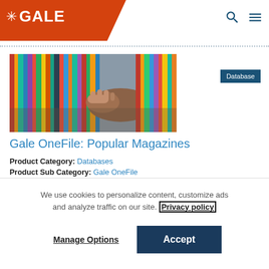GALE
[Figure (photo): Person in a brown jacket reaching to pull a colorful magazine from a packed magazine shelf]
Database
Gale OneFile: Popular Magazines
Product Category: Databases
Product Sub Category: Gale OneFile
We use cookies to personalize content, customize ads and analyze traffic on our site. Privacy policy
Manage Options
Accept